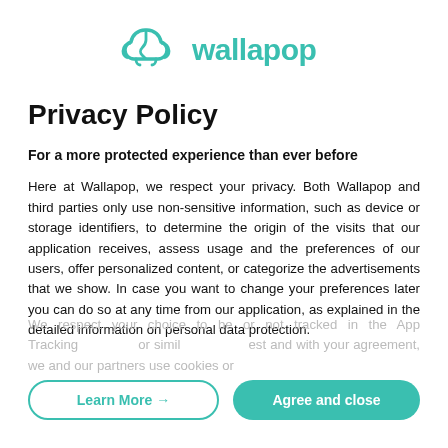[Figure (logo): Wallapop logo: teal cloud/brain icon with 'wallapop' text in teal]
Privacy Policy
For a more protected experience than ever before
Here at Wallapop, we respect your privacy. Both Wallapop and third parties only use non-sensitive information, such as device or storage identifiers, to determine the origin of the visits that our application receives, assess usage and the preferences of our users, offer personalized content, or categorize the advertisements that we show. In case you want to change your preferences later you can do so at any time from our application, as explained in the detailed information on personal data protection.
We respect your choice to be or not tracked in the App Tracking or similar request and with your agreement, we and our partners use cookies or similar technologies for...